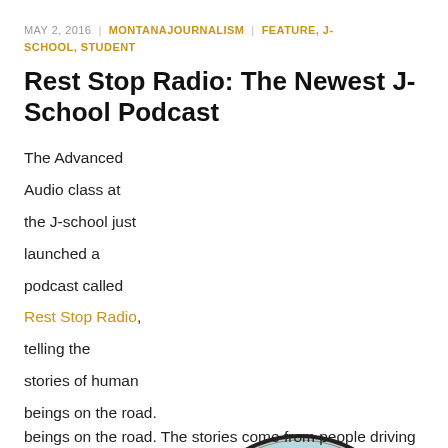MAY 2, 2016  |  MONTANAJOURNALISM  |  FEATURE, J-SCHOOL, STUDENT
Rest Stop Radio: The Newest J-School Podcast
The Advanced Audio class at the J-school just launched a podcast called Rest Stop Radio, telling the stories of human beings on the road. The stories come from people driving
[Figure (logo): Circular logo for Rest Stop Radio podcast showing a rest stop building with pine trees, mountains, sun, and radio waves, with text REST STOP RADIO at the bottom]